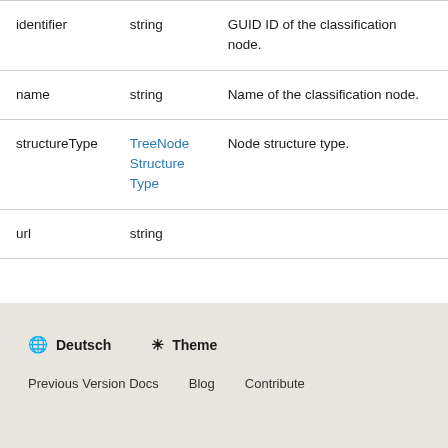|  |  |  |
| --- | --- | --- |
| identifier | string | GUID ID of the classification node. |
| name | string | Name of the classification node. |
| structureType | TreeNodeStructureType | Node structure type. |
| url | string |  |
🌐 Deutsch   ☀ Theme
Previous Version Docs   Blog   Contribute